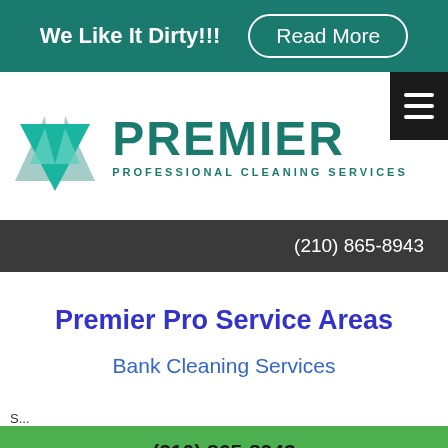We Like It Dirty!!! Read More
[Figure (logo): Premier Professional Cleaning Services logo with teal triangle/arrow icon and teal PREMIER text with PROFESSIONAL CLEANING SERVICES subtitle]
(210) 865-8943
Premier Pro Service Areas
Bank Cleaning Services
S...
(210) 865-8943